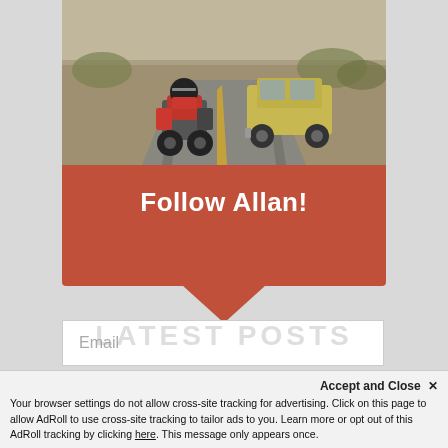[Figure (photo): A motorcycle and a yellow station wagon driving on a two-lane road through a desert landscape, viewed from behind.]
Follow Allan!
Email
SUBSCRIBE!
Accept and Close ✕
Your browser settings do not allow cross-site tracking for advertising. Click on this page to allow AdRoll to use cross-site tracking to tailor ads to you. Learn more or opt out of this AdRoll tracking by clicking here. This message only appears once.